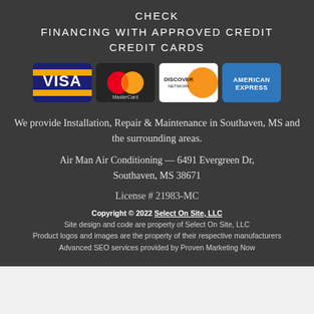CHECK
FINANCING WITH APPROVED CREDIT
CREDIT CARDS
[Figure (logo): Four credit card logos: Visa, MasterCard, Discover Network, American Express]
We provide Installation, Repair & Maintenance in Southaven, MS and the surrounding areas.
Air Man Air Conditioning — 6491 Evergreen Dr, Southaven, MS 38671
License # 21983-MC
Copyright © 2022 Select On Site, LLC
Site design and code are property of Select On Site, LLC
Product logos and images are the property of their respective manufacturers
Advanced SEO services provided by Proven Marketing Now